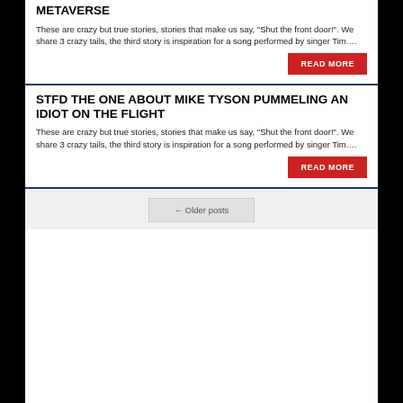METAVERSE
These are crazy but true stories, stories that make us say, "Shut the front door!". We share 3 crazy tails, the third story is inspiration for a song performed by singer Tim.…
READ MORE
STFD THE ONE ABOUT MIKE TYSON PUMMELING AN IDIOT ON THE FLIGHT
These are crazy but true stories, stories that make us say, "Shut the front door!". We share 3 crazy tails, the third story is inspiration for a song performed by singer Tim.…
READ MORE
← Older posts